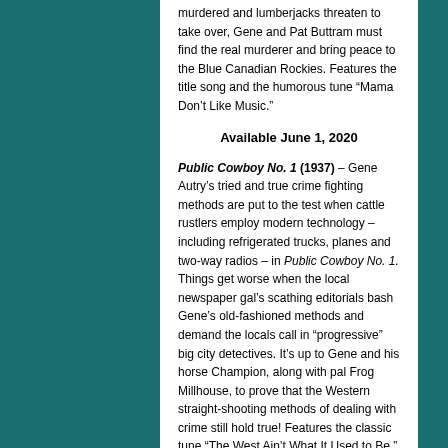murdered and lumberjacks threaten to take over, Gene and Pat Buttram must find the real murderer and bring peace to the Blue Canadian Rockies. Features the title song and the humorous tune “Mama Don’t Like Music.”
Available June 1, 2020
Public Cowboy No. 1 (1937) – Gene Autry’s tried and true crime fighting methods are put to the test when cattle rustlers employ modern technology – including refrigerated trucks, planes and two-way radios – in Public Cowboy No. 1. Things get worse when the local newspaper gal’s scathing editorials bash Gene’s old-fashioned methods and demand the locals call in “progressive” big city detectives. It’s up to Gene and his horse Champion, along with pal Frog Millhouse, to prove that the Western straight-shooting methods of dealing with crime still hold true! Features the classic tune “The West Ain’t What It Used to Be.”
In Old Monterey (1939) – Sergeant Gene Autry,